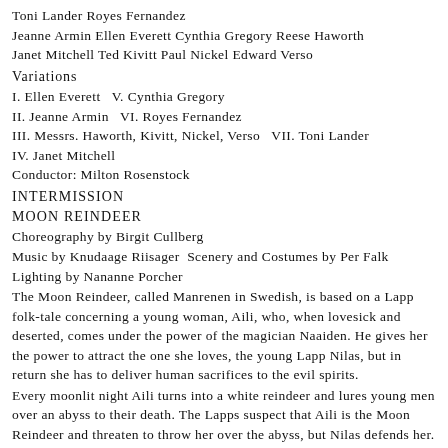Toni Lander Royes Fernandez
Jeanne Armin Ellen Everett Cynthia Gregory Reese Haworth
Janet Mitchell Ted Kivitt Paul Nickel Edward Verso
Variations
I. Ellen Everett V. Cynthia Gregory
II. Jeanne Armin VI. Royes Fernandez
III. Messrs. Haworth, Kivitt, Nickel, Verso VII. Toni Lander
IV. Janet Mitchell
Conductor: Milton Rosenstock
INTERMISSION
MOON REINDEER
Choreography by Birgit Cullberg
Music by Knudaage Riisager Scenery and Costumes by Per Falk
Lighting by Nananne Porcher
The Moon Reindeer, called Manrenen in Swedish, is based on a Lapp folk-tale concerning a young woman, Aili, who, when lovesick and deserted, comes under the power of the magician Naaiden. He gives her the power to attract the one she loves, the young Lapp Nilas, but in return she has to deliver human sacrifices to the evil spirits.
Every moonlit night Aili turns into a white reindeer and lures young men over an abyss to their death. The Lapps suspect that Aili is the Moon Reindeer and threaten to throw her over the abyss, but Nilas defends her. He trusts her right up to the